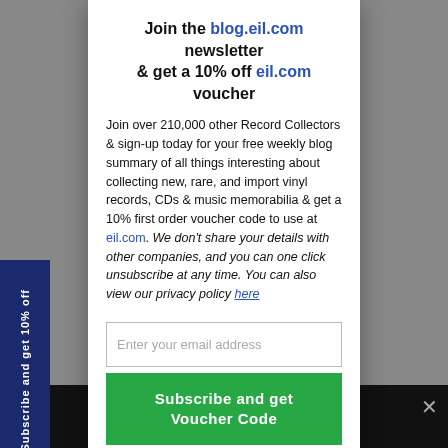Join the blog.eil.com newsletter & get a 10% off eil.com voucher
Join over 210,000 other Record Collectors & sign-up today for your free weekly blog summary of all things interesting about collecting new, rare, and import vinyl records, CDs & music memorabilia & get a 10% first order voucher code to use at eil.com. We don't share your details with other companies, and you can one click unsubscribe at any time. You can also view our privacy policy here
Enter your email address
Subscribe and get Voucher Code
CLOSE X
Subscribe and get 10% off
INCLUDIN
We use co erience on our website ne that you